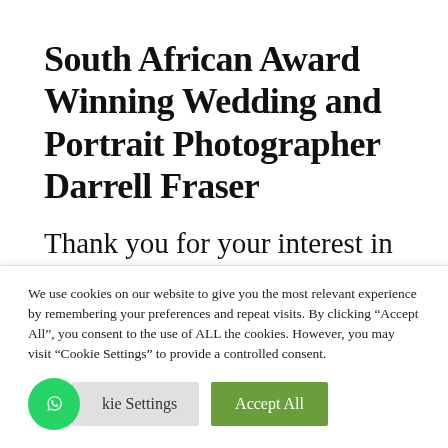South African Award Winning Wedding and Portrait Photographer Darrell Fraser
Thank you for your interest in my work. I am Darrell Fraser, a South African Wedding and Portrait...
We use cookies on our website to give you the most relevant experience by remembering your preferences and repeat visits. By clicking “Accept All”, you consent to the use of ALL the cookies. However, you may visit "Cookie Settings" to provide a controlled consent.